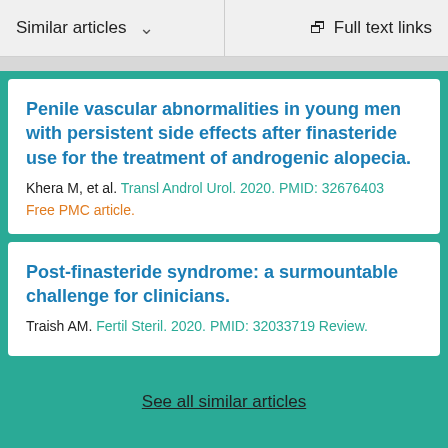Similar articles   Full text links
Penile vascular abnormalities in young men with persistent side effects after finasteride use for the treatment of androgenic alopecia.
Khera M, et al. Transl Androl Urol. 2020. PMID: 32676403
Free PMC article.
Post-finasteride syndrome: a surmountable challenge for clinicians.
Traish AM. Fertil Steril. 2020. PMID: 32033719 Review.
See all similar articles